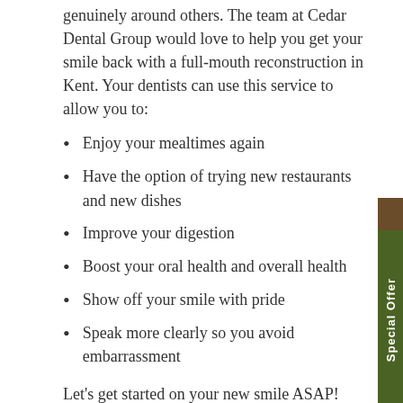genuinely around others. The team at Cedar Dental Group would love to help you get your smile back with a full-mouth reconstruction in Kent. Your dentists can use this service to allow you to:
Enjoy your mealtimes again
Have the option of trying new restaurants and new dishes
Improve your digestion
Boost your oral health and overall health
Show off your smile with pride
Speak more clearly so you avoid embarrassment
Let's get started on your new smile ASAP! Call Cedar Dental Group today at 253-563-0315 to schedule an appointment.